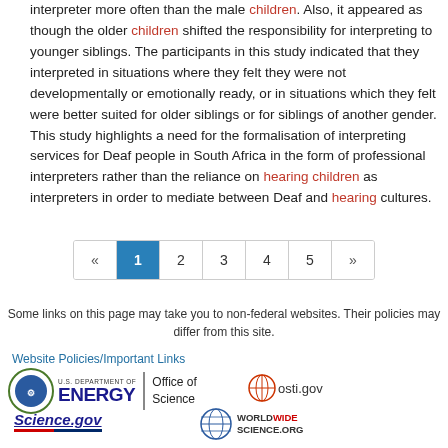interpreter more often than the male children. Also, it appeared as though the older children shifted the responsibility for interpreting to younger siblings. The participants in this study indicated that they interpreted in situations where they felt they were not developmentally or emotionally ready, or in situations which they felt were better suited for older siblings or for siblings of another gender. This study highlights a need for the formalisation of interpreting services for Deaf people in South Africa in the form of professional interpreters rather than the reliance on hearing children as interpreters in order to mediate between Deaf and hearing cultures.
[Figure (other): Pagination control showing pages 1 through 5 with previous and next arrows. Page 1 is highlighted in blue.]
Some links on this page may take you to non-federal websites. Their policies may differ from this site.
Website Policies/Important Links
[Figure (logo): U.S. Department of Energy Office of Science logo]
[Figure (logo): osti.gov logo]
[Figure (logo): Science.gov logo]
[Figure (logo): WorldWideScience.org logo with globe icon]